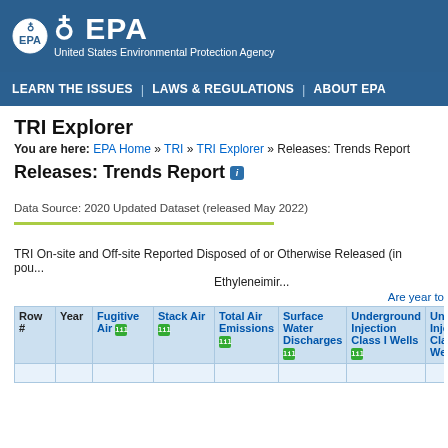EPA United States Environmental Protection Agency
LEARN THE ISSUES | LAWS & REGULATIONS | ABOUT EPA
TRI Explorer
You are here: EPA Home » TRI » TRI Explorer » Releases: Trends Report
Releases: Trends Report
Data Source: 2020 Updated Dataset (released May 2022)
TRI On-site and Off-site Reported Disposed of or Otherwise Released (in pounds), Ethyleneimine
Are year to
| Row # | Year | Fugitive Air | Stack Air | Total Air Emissions | Surface Water Discharges | Underground Injection Class I Wells | Underground Injection Class II Wells |
| --- | --- | --- | --- | --- | --- | --- | --- |